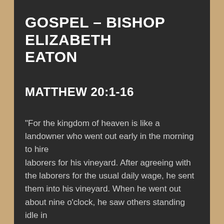GOSPEL – BISHOP ELIZABETH EATON
MATTHEW 20:1-16
“For the kingdom of heaven is like a landowner who went out early in the morning to hire laborers for his vineyard. After agreeing with the laborers for the usual daily wage, he sent them into his vineyard. When he went out about nine o’clock, he saw others standing idle in the marketplace; and he said to them, ‘You also go into the vineyard, and I will pay you whatever is right.’ So they went. When he went out again about noon and about three o’clock, he did the same. And about five o’clock he went out and found others standing around; and